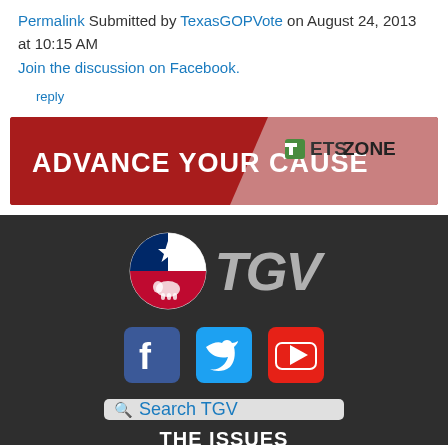Permalink Submitted by TexasGOPVote on August 24, 2013 at 10:15 AM
Join the discussion on Facebook.
reply
[Figure (infographic): Red and pink banner advertisement reading ADVANCE YOUR CAUSE with ETSZONE logo on the right]
[Figure (logo): Texas GOP Vote footer logo: circle with Texas flag and elephant icon, followed by TGV text in gray italic letters]
[Figure (infographic): Social media icons: Facebook (blue), Twitter (blue), YouTube (red)]
[Figure (screenshot): Search TGV search bar in light gray rounded rectangle]
THE ISSUES